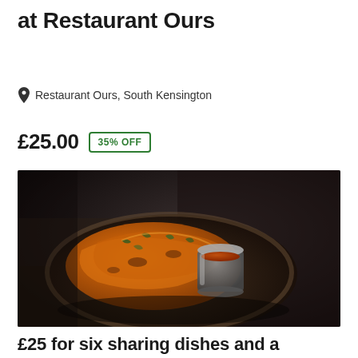at Restaurant Ours
Restaurant Ours, South Kensington
£25.00  35% OFF
[Figure (photo): Overhead shot of a dark ceramic plate with fried golden bhajis or fritters with herbs, alongside a small metal cup of orange-red dipping sauce, set on a dark rustic background.]
£25 for six sharing dishes and a cocktail